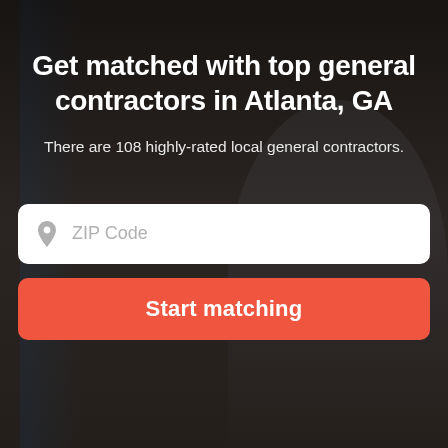[Figure (photo): Dark background photo of a construction worker wearing a yellow hard hat and holding blueprints, with scaffolding/ladder visible on the left side. Dark overlay applied over the image.]
Get matched with top general contractors in Atlanta, GA
There are 108 highly-rated local general contractors.
ZIP Code
Start matching